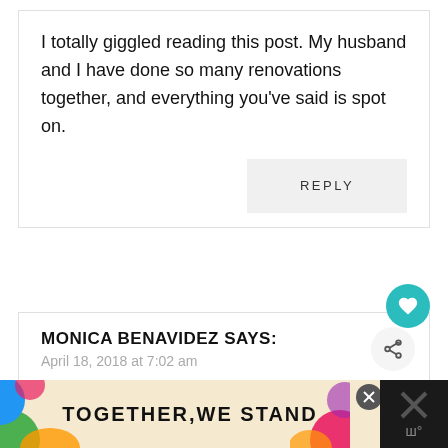I totally giggled reading this post. My husband and I have done so many renovations together, and everything you've said is spot on.
REPLY
MONICA BENAVIDEZ SAYS:
April 18, 2018 at 7:02 am
I feel ya- it’s always a miracle if my husband
[Figure (infographic): TOGETHER WE STAND advertisement banner with colorful decorative elements]
WHAT'S NEXT → One Room Challenge...